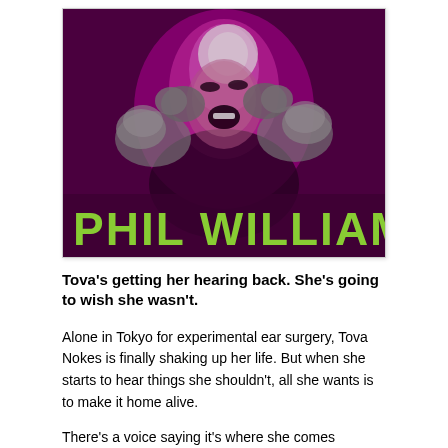[Figure (illustration): Book cover for Phil Williams. Dark magenta/purple background with a woman screaming and covering her ears with both hands (wearing grey gloves/mittens). The author name PHIL WILLIAMS appears in large green letters at the bottom of the cover image.]
Tova's getting her hearing back. She's going to wish she wasn't.
Alone in Tokyo for experimental ear surgery, Tova Nokes is finally shaking up her life. But when she starts to hear things she shouldn't, all she wants is to make it home alive.
There's a voice saying it's where she comes